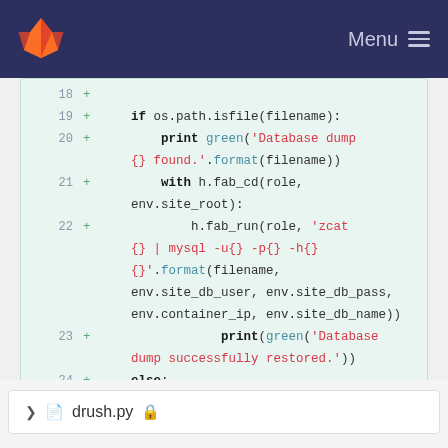GitLab navigation bar with logo and Menu
[Figure (screenshot): Code diff view showing Python code lines 18-25 with green added lines on light green background]
drush.py file footer